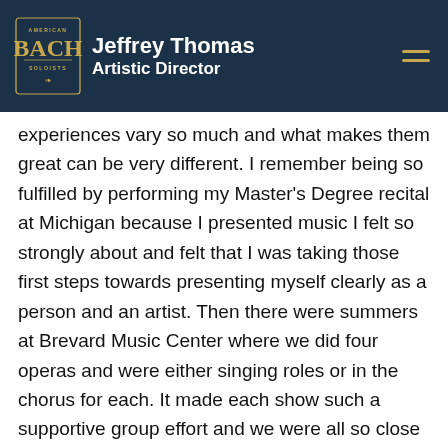Jeffrey Thomas Artistic Director
experiences vary so much and what makes them great can be very different. I remember being so fulfilled by performing my Master's Degree recital at Michigan because I presented music I felt so strongly about and felt that I was taking those first steps towards presenting myself clearly as a person and an artist. Then there were summers at Brevard Music Center where we did four operas and were either singing roles or in the chorus for each. It made each show such a supportive group effort and we were all so close and had so much fun. I've also had those experiences in bigger young artist programs like OTSL [Opera Theatre of Saint Louis] and Santa Fe where you're standing onstage with, covering, or even singing with singers who are operating at an insanely high artistic level and you can talk to them